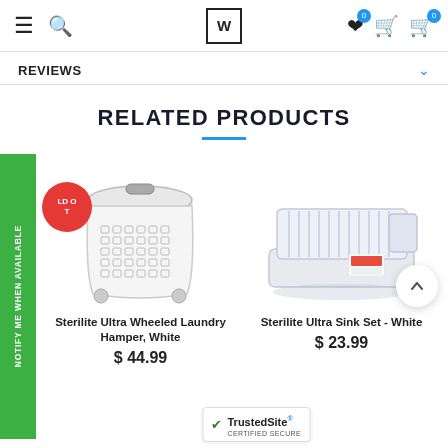Navigation header with menu, search, logo, wishlist (0), cart, and quick order icons
REVIEWS
RELATED PRODUCTS
[Figure (photo): Sterilite Ultra Wheeled Laundry Hamper, White product image with red SOLD OUT badge]
Sterilite Ultra Wheeled Laundry Hamper, White
$ 44.99
[Figure (photo): Sterilite Ultra Sink Set - White product image with scroll-up button]
Sterilite Ultra Sink Set - White
$ 23.99
[Figure (logo): TrustedSite CERTIFIED SECURE badge]
NOTIFY ME WHEN AVAILABLE